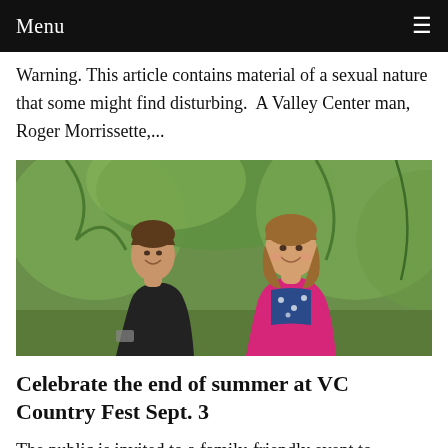Menu
Warning. This article contains material of a sexual nature that some might find disturbing. A Valley Center man, Roger Morrissette,...
[Figure (photo): Two women smiling outdoors in front of green trees. The woman on the left wears a dark top, the woman on the right wears a magenta/pink cardigan over a floral top.]
Celebrate the end of summer at VC Country Fest Sept. 3
The public is invited to a family-friendly event to celebrate the end of summer: the